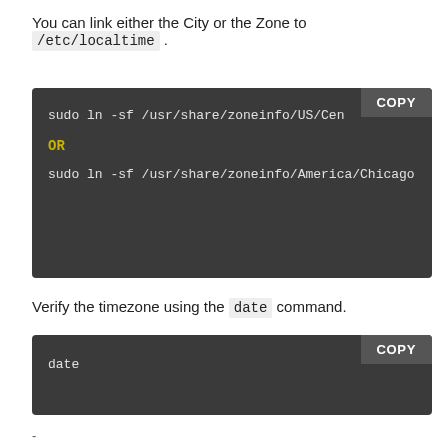You can link either the City or the Zone to /etc/localtime .
sudo ln -sf /usr/share/zoneinfo/US/Cen
OR
sudo ln -sf /usr/share/zoneinfo/America/Chicago
Verify the timezone using the date command.
date
-